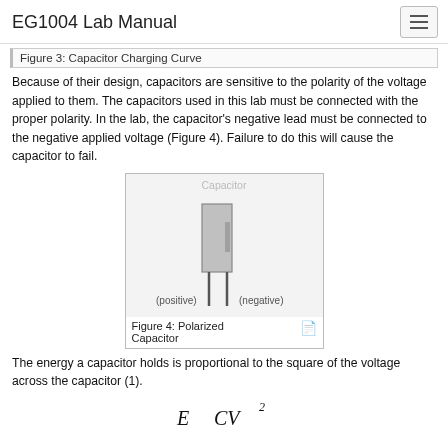EG1004 Lab Manual
Figure 3: Capacitor Charging Curve
Because of their design, capacitors are sensitive to the polarity of the voltage applied to them. The capacitors used in this lab must be connected with the proper polarity. In the lab, the capacitor’s negative lead must be connected to the negative applied voltage (Figure 4). Failure to do this will cause the capacitor to fail.
[Figure (engineering-diagram): Diagram of a polarized capacitor showing a cylindrical capacitor body with two leads: the longer lead labeled (positive) and the shorter lead labeled (negative). The component is labeled 'Capacitor' at the top.]
Figure 4: Polarized Capacitor
The energy a capacitor holds is proportional to the square of the voltage across the capacitor (1).